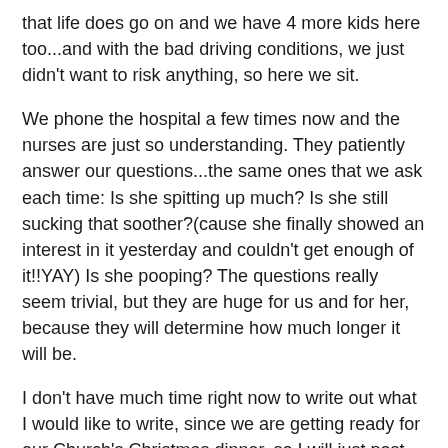that life does go on and we have 4 more kids here too...and with the bad driving conditions, we just didn't want to risk anything, so here we sit.
We phone the hospital a few times now and the nurses are just so understanding. They patiently answer our questions...the same ones that we ask each time: Is she spitting up much? Is she still sucking that soother?(cause she finally showed an interest in it yesterday and couldn't get enough of it!!YAY) Is she pooping? The questions really seem trivial, but they are huge for us and for her, because they will determine how much longer it will be.
I don't have much time right now to write out what I would like to write, since we are getting ready for our Church's Christmas dinner, so I will just post some pictures instead and the words to a song that has been stuck in my head for this past week...we sing it and confess this over Faith many times a day...and we sing our own words to it periodically too...
I Am Free - Newsboys